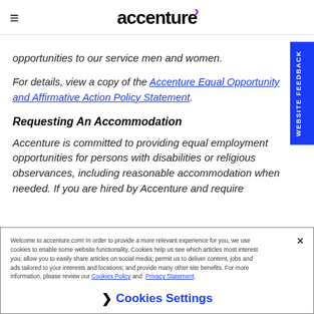accenture
opportunities to our service men and women.
For details, view a copy of the Accentture Equal Opportunity and Affirmative Action Policy Statement.
Requesting An Accommodation
Accenture is committed to providing equal employment opportunities for persons with disabilities or religious observances, including reasonable accommodation when needed. If you are hired by Accenture and require
Welcome to accenture.com! In order to provide a more relevant experience for you, we use cookies to enable some website functionality. Cookies help us see which articles most interest you; allow you to easily share articles on social media; permit us to deliver content, jobs and ads tailored to your interests and locations; and provide many other site benefits. For more information, please review our Cookies Policy and Privacy Statement.
Cookies Settings